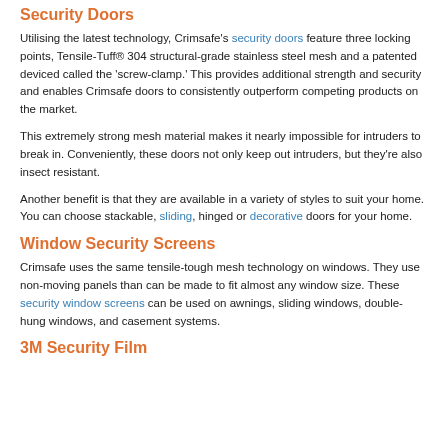Security Doors
Utilising the latest technology, Crimsafe's security doors feature three locking points, Tensile-Tuff® 304 structural-grade stainless steel mesh and a patented deviced called the 'screw-clamp.' This provides additional strength and security and enables Crimsafe doors to consistently outperform competing products on the market.
This extremely strong mesh material makes it nearly impossible for intruders to break in. Conveniently, these doors not only keep out intruders, but they're also insect resistant.
Another benefit is that they are available in a variety of styles to suit your home. You can choose stackable, sliding, hinged or decorative doors for your home.
Window Security Screens
Crimsafe uses the same tensile-tough mesh technology on windows. They use non-moving panels than can be made to fit almost any window size. These security window screens can be used on awnings, sliding windows, double-hung windows, and casement systems.
3M Security Film